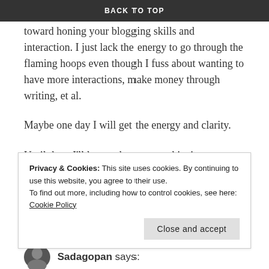BACK TO TOP
on the milestone and work that you have done toward honing your blogging skills and interaction. I just lack the energy to go through the flaming hoops even though I fuss about wanting to have more interactions, make money through writing, et al.
Maybe one day I will get the energy and clarity.
Until then, I'll let you keep overachieving as a blogger on my behalf 🙂
thelongview says:
Privacy & Cookies: This site uses cookies. By continuing to use this website, you agree to their use.
To find out more, including how to control cookies, see here: Cookie Policy
Close and accept
Sadagopan says: